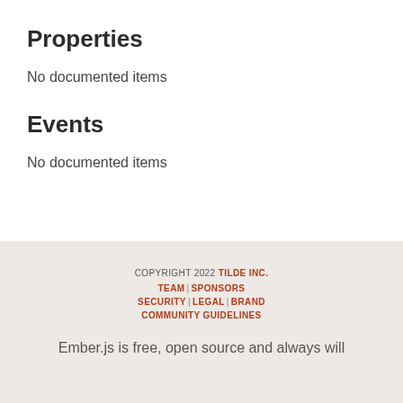Properties
No documented items
Events
No documented items
COPYRIGHT 2022 TILDE INC.
TEAM | SPONSORS
SECURITY | LEGAL | BRAND
COMMUNITY GUIDELINES
Ember.js is free, open source and always will